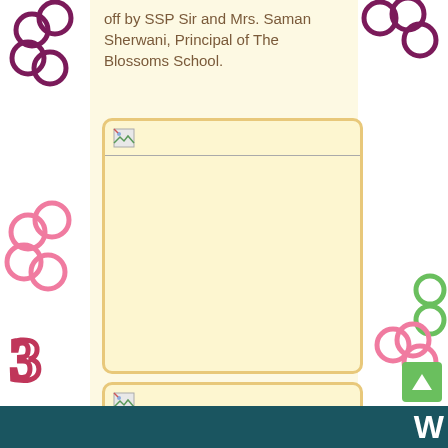off by SSP Sir and Mrs. Saman Sherwani, Principal of The Blossoms School.
[Figure (photo): Empty image placeholder box 1 with broken image icon]
[Figure (photo): Empty image placeholder box 2 with broken image icon]